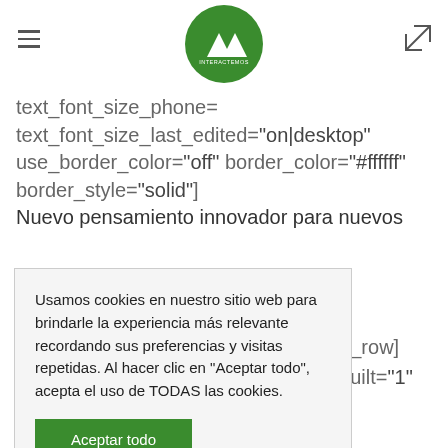Interactemos website header with hamburger menu, logo, and expand icon
text_font_size_phone=
text_font_size_last_edited="on|desktop"
use_border_color="off" border_color="#ffffff"
border_style="solid"]
Nuevo pensamiento innovador para nuevos
ob_row]
_built="1"
Usamos cookies en nuestro sitio web para brindarle la experiencia más relevante recordando sus preferencias y visitas repetidas. Al hacer clic en "Aceptar todo", acepta el uso de TODAS las cookies.
Aceptar todo
custom_padding_tablet="0px|||"